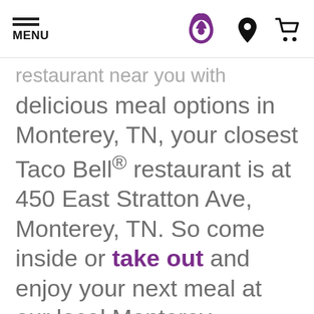MENU [Taco Bell logo] [Location icon] [Cart icon]
restaurant near you with delicious meal options in Monterey, TN, your closest Taco Bell® restaurant is at 450 East Stratton Ave, Monterey, TN. So come inside or take out and enjoy your next meal at our local Monterey restaurant location. Looking for other